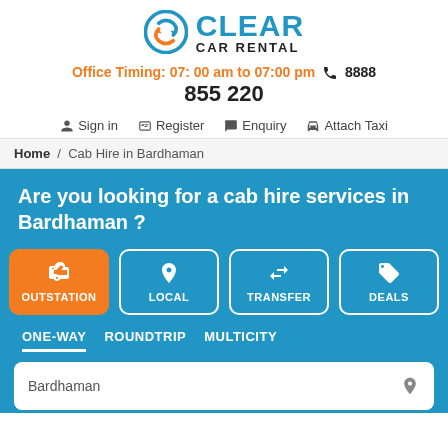[Figure (logo): Clear Car Rental logo with circular arrow icon in blue and orange]
Office Timing: 07: 00 am to 07:00 pm 📞 8888
855 220
Sign in   Register   Enquiry   Attach Taxi
Home / Cab Hire in Bardhaman
Are you looking for a cab hire services in Bardhaman ?
OUTSTATION   LOCAL   TRANSFER   DEALS
ONE-WAY   ROUNDTRIP   MULTICITY
Bardhaman